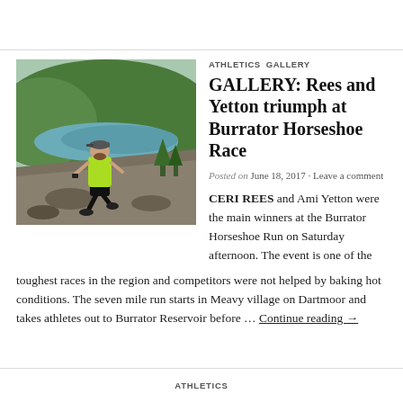[Figure (photo): A male runner wearing a neon green vest and black shorts running on rocky terrain on a hillside, with a reservoir and forested hills visible in the background. Burrator Reservoir area, Dartmoor.]
ATHLETICS   GALLERY
GALLERY: Rees and Yetton triumph at Burrator Horseshoe Race
Posted on June 18, 2017 · Leave a comment
CERI REES and Ami Yetton were the main winners at the Burrator Horseshoe Run on Saturday afternoon. The event is one of the toughest races in the region and competitors were not helped by baking hot conditions. The seven mile run starts in Meavy village on Dartmoor and takes athletes out to Burrator Reservoir before … Continue reading →
ATHLETICS